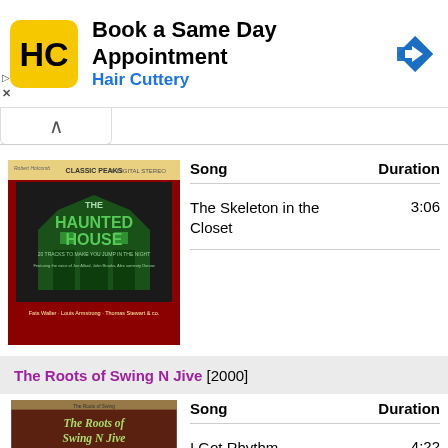[Figure (screenshot): Hair Cuttery advertisement banner with logo, 'Book a Same Day Appointment' text, and navigation arrow icon]
[Figure (photo): Album art for 'The Haunted House' - 20 tracks to make you jump in the night, classic Pekar digital stereo]
| Song | Duration |
| --- | --- |
| The Skeleton in the Closet | 3:06 |
The Roots of Swing N Jive [2000]
[Figure (photo): Album art for 'The Roots of Swing N Jive']
| Song | Duration |
| --- | --- |
| I Got Rhythm | 4:22 |